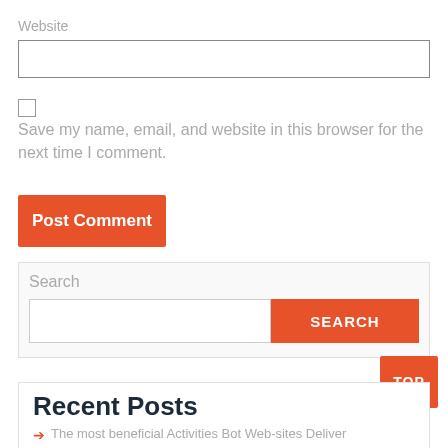Website
Save my name, email, and website in this browser for the next time I comment.
Post Comment
Search
SEARCH
TOP
Recent Posts
The most beneficial Activities Bot Web-sites Deliver